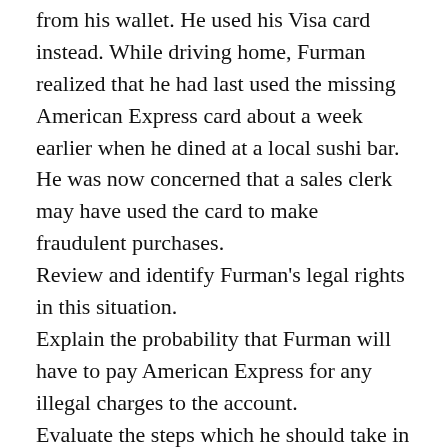from his wallet. He used his Visa card instead. While driving home, Furman realized that he had last used the missing American Express card about a week earlier when he dined at a local sushi bar. He was now concerned that a sales clerk may have used the card to make fraudulent purchases.
Review and identify Furman's legal rights in this situation.
Explain the probability that Furman will have to pay American Express for any illegal charges to the account.
Evaluate the steps which he should take in order to protect himself from further loss as a result of losing his card.